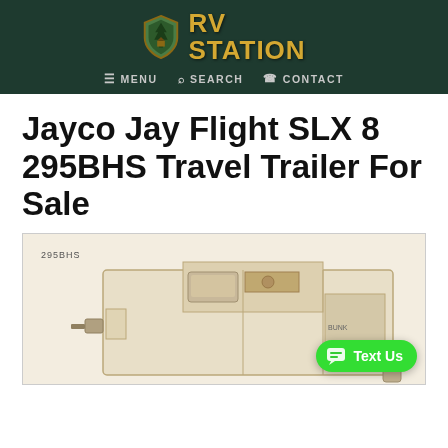RV STATION — MENU  SEARCH  CONTACT
Jayco Jay Flight SLX 8 295BHS Travel Trailer For Sale
[Figure (illustration): Floor plan diagram of Jayco Jay Flight SLX 8 295BHS travel trailer showing interior layout with label '295BHS'. A green 'Text Us' chat button overlays the bottom-right corner.]